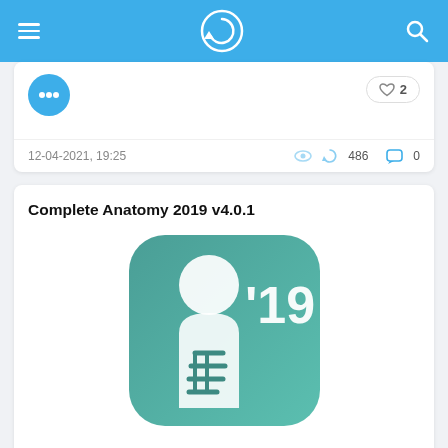Navigation bar with menu icon, logo, and search icon
12-04-2021, 19:25  486  0
Complete Anatomy 2019 v4.0.1
[Figure (logo): Complete Anatomy 2019 app icon by 3D4Medical — teal rounded square with white anatomical figure silhouette and '19 text and 3D4MEDICAL branding]